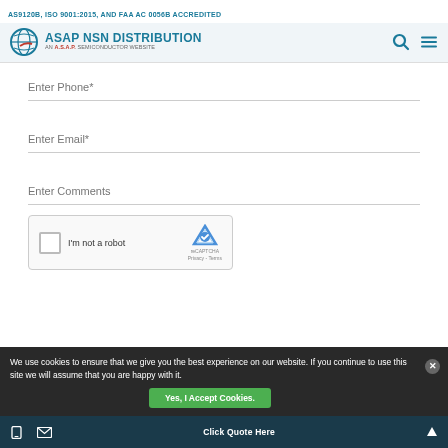AS9120B, ISO 9001:2015, AND FAA AC 0056B ACCREDITED
[Figure (logo): ASAP NSN Distribution logo with globe icon and tagline AN ASAP SEMICONDUCTOR WEBSITE]
Enter Phone*
Enter Email*
Enter Comments
[Figure (other): reCAPTCHA widget with checkbox labeled I'm not a robot and reCAPTCHA logo with Privacy and Terms links]
We use cookies to ensure that we give you the best experience on our website. If you continue to use this site we will assume that you are happy with it.
Yes, I Accept Cookies.
Click Quote Here